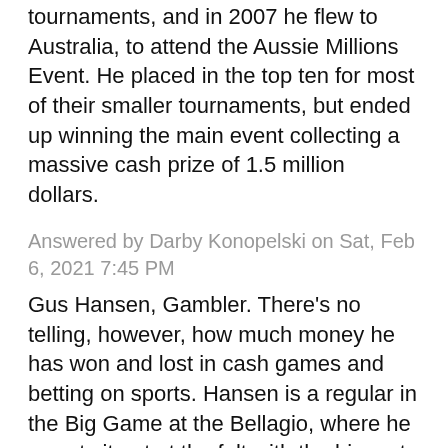tournaments, and in 2007 he flew to Australia, to attend the Aussie Millions Event. He placed in the top ten for most of their smaller tournaments, but ended up winning the main event collecting a massive cash prize of 1.5 million dollars.
Answered by Darby Konopelski on Sat, Feb 6, 2021 7:45 PM
Gus Hansen, Gambler. There's no telling, however, how much money he has won and lost in cash games and betting on sports. Hansen is a regular in the Big Game at the Bellagio, where he sweats it out at the felt with the biggest and most respected names in poker.
Answered by Deja Macejkovic on Sun, Feb 7, 2021 11:29 PM
Little did Gustav Jacobson know that he could